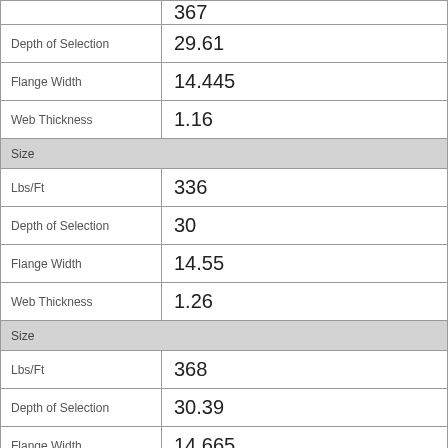| Property | Value |
| --- | --- |
|  | 367 |
| Depth of Selection | 29.61 |
| Flange Width | 14.445 |
| Web Thickness | 1.16 |
| Size |  |
| Lbs/Ft | 336 |
| Depth of Selection | 30 |
| Flange Width | 14.55 |
| Web Thickness | 1.26 |
| Size |  |
| Lbs/Ft | 368 |
| Depth of Selection | 30.39 |
| Flange Width | 14.665 |
| Web Thickness | 1.38 |
| Size | 30 |